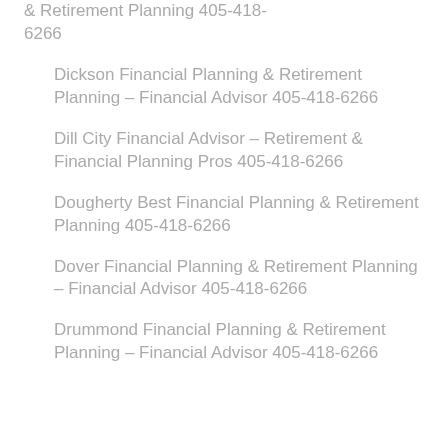& Retirement Planning 405-418-6266
Dickson Financial Planning & Retirement Planning – Financial Advisor 405-418-6266
Dill City Financial Advisor – Retirement & Financial Planning Pros 405-418-6266
Dougherty Best Financial Planning & Retirement Planning 405-418-6266
Dover Financial Planning & Retirement Planning – Financial Advisor 405-418-6266
Drummond Financial Planning & Retirement Planning – Financial Advisor 405-418-6266